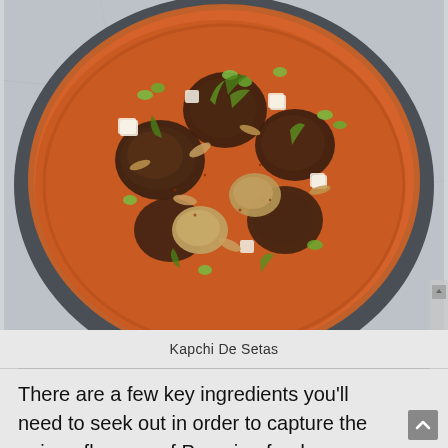[Figure (photo): Top-down view of a bowl of Kapchi De Setas, a Peruvian mushroom dish with potatoes, edamame, white cheese cubes, herbs, and a spiced orange/red broth, photographed on a grey stone surface.]
Kapchi De Setas
There are a few key ingredients you'll need to seek out in order to capture the unique flavours of Peruvian food.